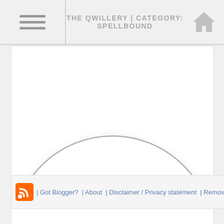THE QWILLERY | CATEGORY: SPELLBOUND
[Figure (illustration): A large white area with a faint circle outline in the center, suggesting a placeholder for a book cover or image.]
| Got Blogger? | About | Disclaimer / Privacy statement | Remove fee